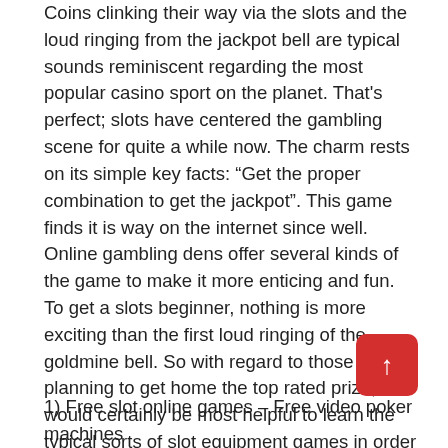Coins clinking their way via the slots and the loud ringing from the jackpot bell are typical sounds reminiscent regarding the most popular casino sport on the planet. That's perfect; slots have centered the gambling scene for quite a while now. The charm rests on its simple key facts: “Get the proper combination to get the jackpot”. This game finds it is way on the internet since well. Online gambling dens offer several kinds of the game to make it more enticing and fun. To get a slots beginner, nothing is more exciting than the first loud ringing of the goldmine bell. So with regard to those planning to get home the top rated prize, it would certainly be most helpful to learn the typical sorts of slot equipment games in order to produce some strategies. Let’s get started.
1) Free slot online games – Free video poker machines